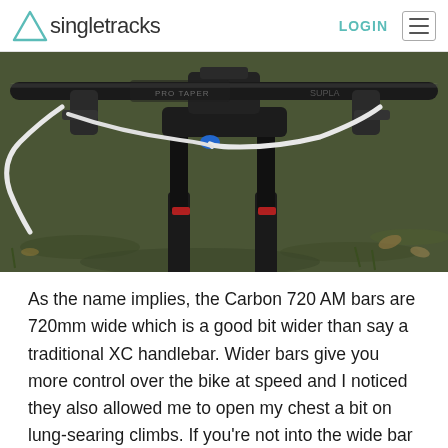singletracks — LOGIN
[Figure (photo): Close-up photograph of a mountain bike cockpit showing carbon handlebars (ProTaper branded), stem, brake levers, and white hydraulic brake cables, with a fork visible below. Background shows grass/ground.]
As the name implies, the Carbon 720 AM bars are 720mm wide which is a good bit wider than say a traditional XC handlebar. Wider bars give you more control over the bike at speed and I noticed they also allowed me to open my chest a bit on lung-searing climbs. If you're not into the wide bar scene, Answer provides cut marks to